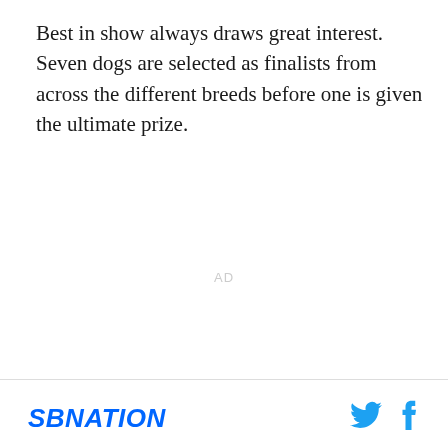Best in show always draws great interest. Seven dogs are selected as finalists from across the different breeds before one is given the ultimate prize.
AD
SBNATION